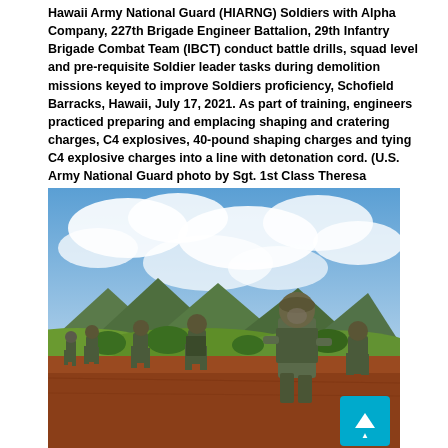Hawaii Army National Guard (HIARNG) Soldiers with Alpha Company, 227th Brigade Engineer Battalion, 29th Infantry Brigade Combat Team (IBCT) conduct battle drills, squad level and pre-requisite Soldier leader tasks during demolition missions keyed to improve Soldiers proficiency, Schofield Barracks, Hawaii, July 17, 2021. As part of training, engineers practiced preparing and emplacing shaping and cratering charges, C4 explosives, 40-pound shaping charges and tying C4 explosive charges into a line with detonation cord. (U.S. Army National Guard photo by Sgt. 1st Class Theresa Gualdarama)
[Figure (photo): Soldiers in combat gear and helmets walking across reddish-brown dirt terrain with green hills, mountains, and a partly cloudy blue sky in the background. Multiple soldiers in camouflage uniforms and body armor marching in a line, with one prominent soldier in the foreground right.]